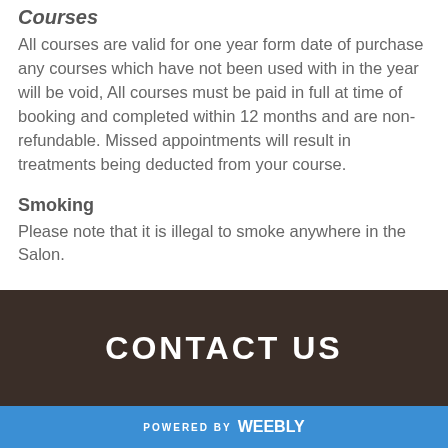Courses
All courses are valid for one year form date of purchase any courses which have not been used with in the year will be void,  All courses must be paid in full at time of booking and completed within 12 months and are non-refundable.  Missed appointments will result in treatments being deducted from your course.
Smoking
Please note that it is illegal to smoke anywhere in the Salon.
CONTACT US
POWERED BY weebly